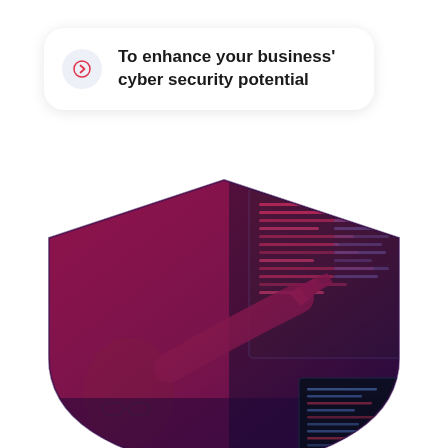To enhance your business’ cyber security potential
[Figure (photo): A person with glasses pointing at a screen displaying code, shown inside a shield shape with a dark red-to-purple color overlay. The image represents cybersecurity.]